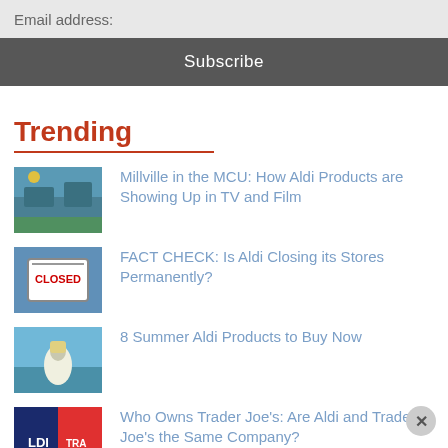Email address:
Subscribe
Trending
Millville in the MCU: How Aldi Products are Showing Up in TV and Film
FACT CHECK: Is Aldi Closing its Stores Permanently?
8 Summer Aldi Products to Buy Now
Who Owns Trader Joe's: Are Aldi and Trader Joe's the Same Company?
This Week at Aldi: the Aldi Weekly Ad for August 24, 2022